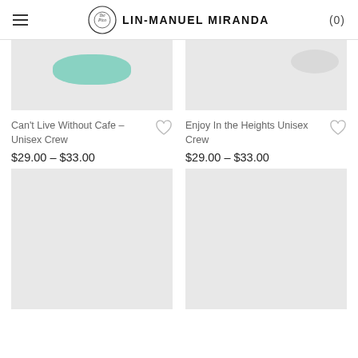LIN-MANUEL MIRANDA
[Figure (photo): Product image top portion - Can't Live Without Cafe Unisex Crew shirt with mint/teal graphic, cropped view]
[Figure (photo): Product image top portion - Enjoy In the Heights Unisex Crew shirt, light gray, cropped view]
Can't Live Without Cafe – Unisex Crew
$29.00 – $33.00
Enjoy In the Heights Unisex Crew
$29.00 – $33.00
[Figure (photo): Product image placeholder - loading gray box]
[Figure (photo): Product image placeholder - loading gray box]